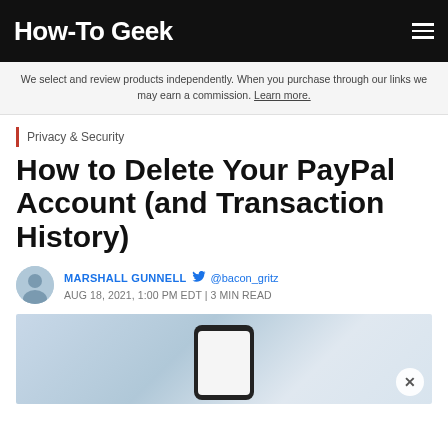How-To Geek
We select and review products independently. When you purchase through our links we may earn a commission. Learn more.
Privacy & Security
How to Delete Your PayPal Account (and Transaction History)
MARSHALL GUNNELL @bacon_gritz AUG 18, 2021, 1:00 PM EDT | 3 MIN READ
[Figure (photo): Hero image showing a smartphone with a blank screen against a blurred background]